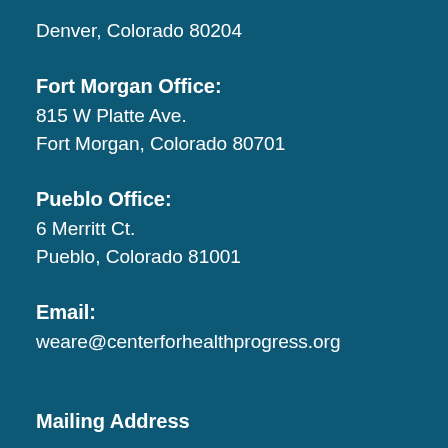Denver, Colorado 80204
Fort Morgan Office:
815 W Platte Ave.
Fort Morgan, Colorado 80701
Pueblo Office:
6 Merritt Ct.
Pueblo, Colorado 81001
Email:
weare@centerforhealthprogress.org
Mailing Address